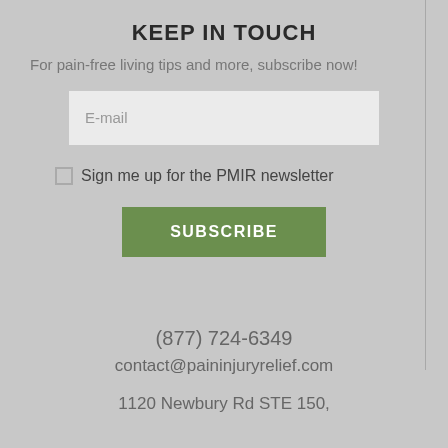KEEP IN TOUCH
For pain-free living tips and more, subscribe now!
E-mail
Sign me up for the PMIR newsletter
SUBSCRIBE
(877) 724-6349
contact@paininjuryrelief.com
1120 Newbury Rd STE 150,